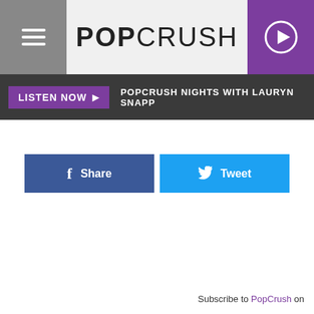POPCRUSH
LISTEN NOW ▶  POPCRUSH NIGHTS WITH LAURYN SNAPP
[Figure (other): Facebook Share button (dark blue) and Twitter Tweet button (light blue) side by side]
Subscribe to PopCrush on